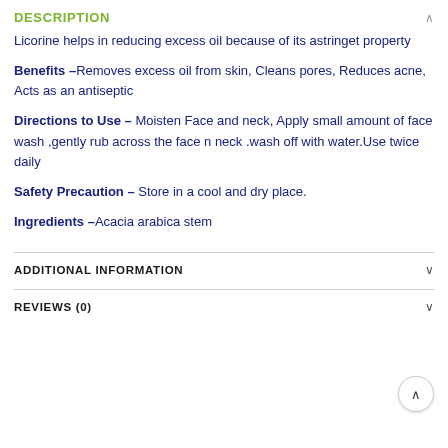DESCRIPTION
Licorine helps in reducing excess oil because of its astringet property
Benefits –Removes excess oil from skin, Cleans pores, Reduces acne, Acts as an antiseptic
Directions to Use – Moisten Face and neck, Apply small amount of face wash ,gently rub across the face n neck .wash off with water.Use twice daily
Safety Precaution – Store in a cool and dry place.
Ingredients –Acacia arabica stem
ADDITIONAL INFORMATION
REVIEWS (0)